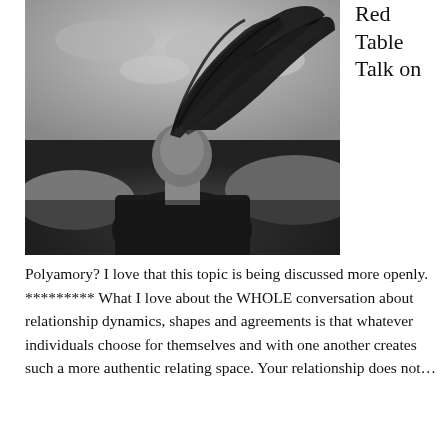[Figure (photo): Black and white photograph of a woman with long hair blowing dramatically in the wind, head tilted back, wearing a dark top, with a cloudy sky and hills in the background.]
Red Table Talk on
Polyamory? I love that this topic is being discussed more openly. ********* What I love about the WHOLE conversation about relationship dynamics, shapes and agreements is that whatever individuals choose for themselves and with one another creates such a more authentic relating space. Your relationship does not…